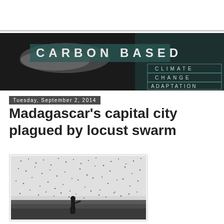[Figure (logo): Carbon Based Climate Change Adaptation blog banner with coastal wave photograph and text overlay]
Tuesday, September 2, 2014
Madagascar's capital city plagued by locust swarm
[Figure (photo): Black and white photograph showing a person standing in a field surrounded by a dense swarm of locusts filling the sky]